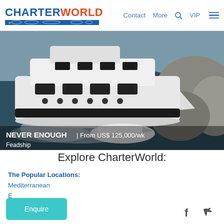CHARTERWORLD | Contact More VIP
[Figure (photo): Aerial view of a large white luxury motor yacht (NEVER ENOUGH, Feadship) underway on dark blue water with a smaller tender vessel alongside, rocky coastline visible in background]
NEVER ENOUGH | From US$ 125,000/wk Feadship
Explore CharterWorld:
The Popular Locations:
Mediterranean
Enquire
f  (Twitter bird icon)